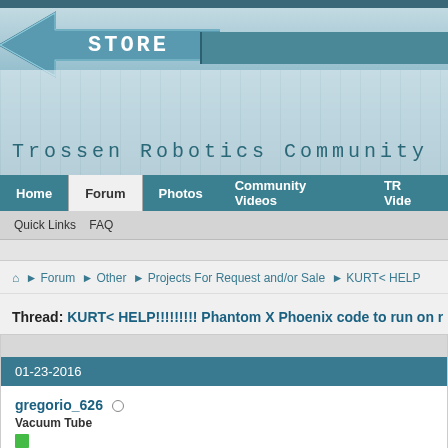[Figure (screenshot): Trossen Robotics Community website header with STORE arrow logo and teal banner]
Trossen Robotics Community
Home | Forum | Photos | Community Videos | TR Vide
Quick Links  FAQ
Forum ► Other ► Projects For Request and/or Sale ► KURT< HELP
Thread: KURT< HELP!!!!!!!!! Phantom X Phoenix code to run on r
01-23-2016
gregorio_626  Vacuum Tube